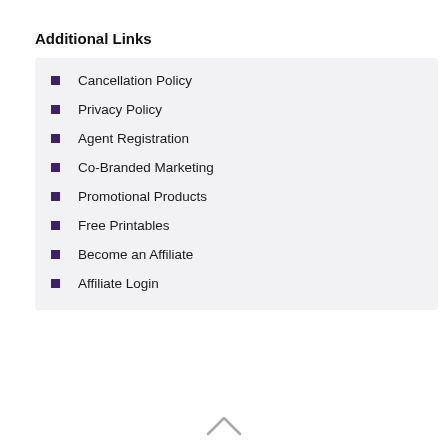Additional Links
Cancellation Policy
Privacy Policy
Agent Registration
Co-Branded Marketing
Promotional Products
Free Printables
Become an Affiliate
Affiliate Login